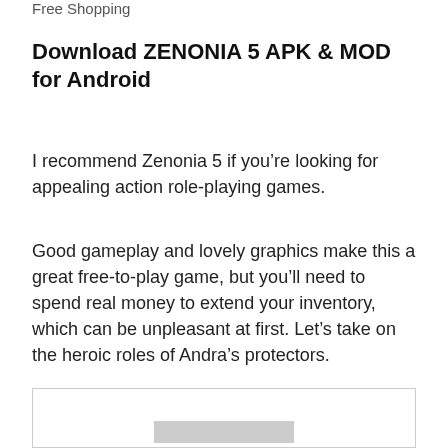Free Shopping
Download ZENONIA 5 APK & MOD for Android
I recommend Zenonia 5 if you’re looking for appealing action role-playing games.
Good gameplay and lovely graphics make this a great free-to-play game, but you’ll need to spend real money to extend your inventory, which can be unpleasant at first. Let’s take on the heroic roles of Andra’s protectors.
[Figure (other): Advertisement box with grey bar at bottom]